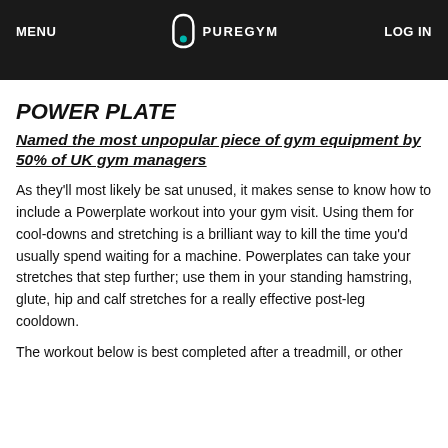MENU | PUREGYM | LOG IN
POWER PLATE
Named the most unpopular piece of gym equipment by 50% of UK gym managers
As they'll most likely be sat unused, it makes sense to know how to include a Powerplate workout into your gym visit. Using them for cool-downs and stretching is a brilliant way to kill the time you'd usually spend waiting for a machine. Powerplates can take your stretches that step further; use them in your standing hamstring, glute, hip and calf stretches for a really effective post-leg cooldown.
The workout below is best completed after a treadmill, or other